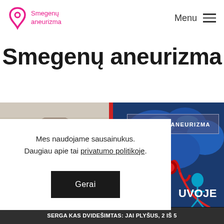Smegenų aneurizma — Menu
Smegenų aneurizma
[Figure (photo): Composite image: left half shows a person's face/head (blurred), right half shows a medical illustration of a brain aneurysm with red blood vessels on blue background]
SMEGENŲ ANEURIZMA
Mes naudojame sausainukus. Daugiau apie tai privatumo politikoje.
Gerai
UVOJE
SERGA KAS DVIDEŠIMTAS: JAI PLYŠUS, 2 IŠ 5